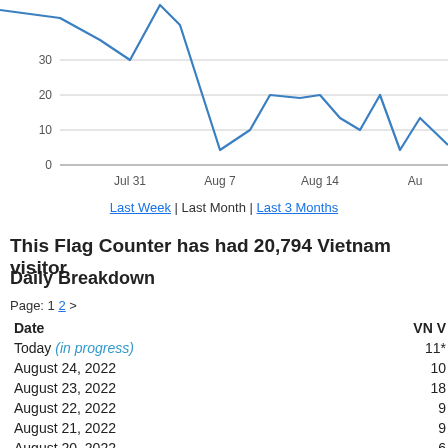[Figure (line-chart): Line chart showing Vietnam visitor counts from late July to late August 2022, values ranging from about 6 to 45+]
Last Week | Last Month | Last 3 Months
This Flag Counter has had 20,794 Vietnam visitor
Daily Breakdown
Page: 1 2 >
| Date | VN V |
| --- | --- |
| Today (in progress) | 11* |
| August 24, 2022 | 10 |
| August 23, 2022 | 18 |
| August 22, 2022 | 9 |
| August 21, 2022 | 9 |
| August 20, 2022 | 6 |
| August 19, 2022 | 10 |
| August 18, 2022 | 22 |
| August 17, 2022 | 19 |